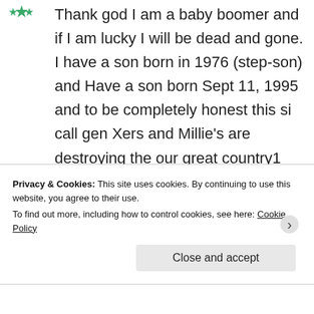[Figure (logo): Green decorative snowflake/star avatar icon]
Thank god I am a baby boomer and if I am lucky I will be dead and gone. I have a son born in 1976 (step-son) and Have a son born Sept 11, 1995 and to be completely honest this si call gen Xers and Millie's are destroying the our great country1 and by the time gen X ers reach my age China will be ruling
Privacy & Cookies: This site uses cookies. By continuing to use this website, you agree to their use.
To find out more, including how to control cookies, see here: Cookie Policy
Close and accept